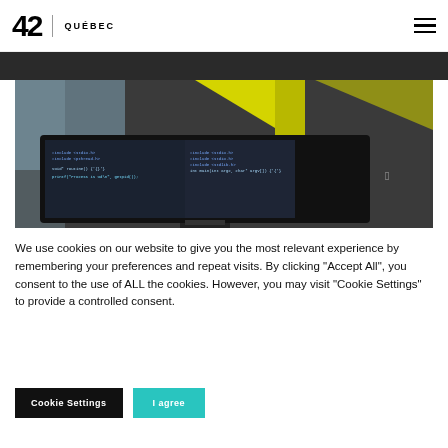42 | QUÉBEC
[Figure (photo): Photo of a computer monitor displaying C code in an IDE, with yellow geometric shapes on the wall in the background, in what appears to be a modern office or coding school environment.]
We use cookies on our website to give you the most relevant experience by remembering your preferences and repeat visits. By clicking "Accept All", you consent to the use of ALL the cookies. However, you may visit "Cookie Settings" to provide a controlled consent.
Cookie Settings | I agree